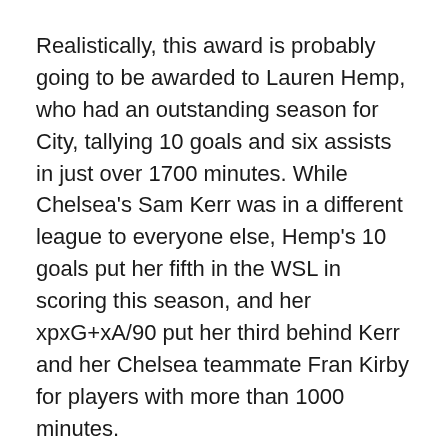Realistically, this award is probably going to be awarded to Lauren Hemp, who had an outstanding season for City, tallying 10 goals and six assists in just over 1700 minutes. While Chelsea's Sam Kerr was in a different league to everyone else, Hemp's 10 goals put her fifth in the WSL in scoring this season, and her xpxG+xA/90 put her third behind Kerr and her Chelsea teammate Fran Kirby for players with more than 1000 minutes.
Still, the nomination is a recognition of the impact that Naz has had this season for Tottenham. While she (among the rest of the Spurs squad) struggled to convert chances, Naz's pace allowed her to stretch opposition defenses this season. It's not out of the question that with an upgrade to some of the players around her she could improve her stats significantly